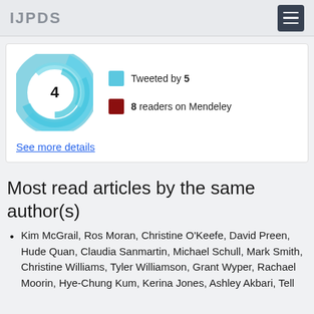IJPDS
[Figure (other): Altmetric donut badge showing score of 4, with teal/blue swirling ring design and white center circle with number 4]
Tweeted by 5
8 readers on Mendeley
See more details
Most read articles by the same author(s)
Kim McGrail, Ros Moran, Christine O'Keefe, David Preen, Hude Quan, Claudia Sanmartin, Michael Schull, Mark Smith, Christine Williams, Tyler Williamson, Grant Wyper, Rachael Moorin, Hye-Chung Kum, Kerina Jones, Ashley Akbari, Tell